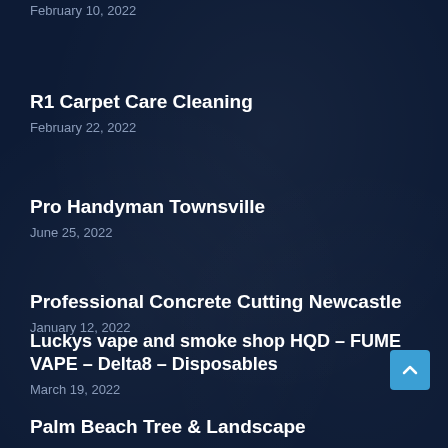February 10, 2022
R1 Carpet Care Cleaning
February 22, 2022
Pro Handyman Townsville
June 25, 2022
Professional Concrete Cutting Newcastle
January 12, 2022
Luckys vape and smoke shop HQD – FUME VAPE – Delta8 – Disposables
March 19, 2022
Palm Beach Tree & Landscape